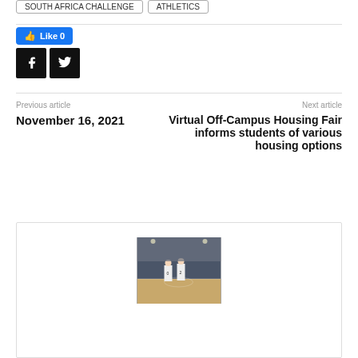SOUTH AFRICA CHALLENGE · ATHLETICS
👍 Like 0
[Figure (other): Facebook share button (black square with white 'f' icon)]
[Figure (other): Twitter share button (black square with white bird icon)]
Previous article
November 16, 2021
Next article
Virtual Off-Campus Housing Fair informs students of various housing options
[Figure (photo): Basketball game photo showing two players in white uniforms with numbers 0 and 2 on the court with crowd in background]